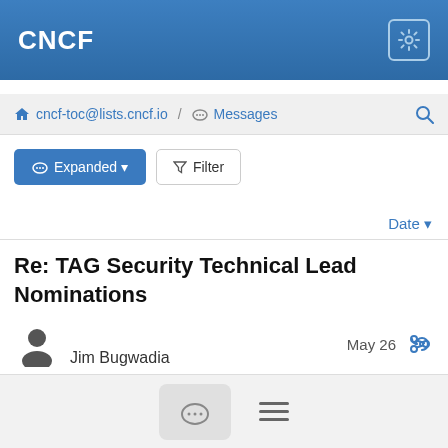CNCF
cncf-toc@lists.cncf.io / Messages
Expanded   Filter
Date
Re: TAG Security Technical Lead Nominations
Jim Bugwadia   May 26
+1 NB